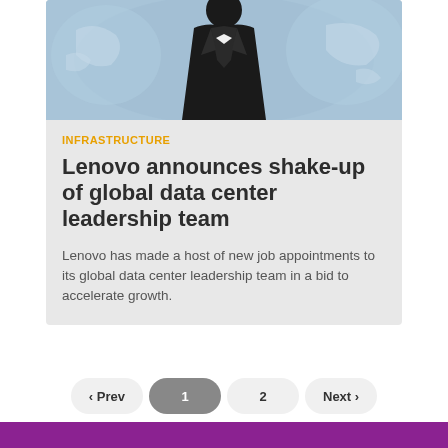[Figure (illustration): Blue-toned illustration showing a figure in a suit (business person) with a globe/world map background]
INFRASTRUCTURE
Lenovo announces shake-up of global data center leadership team
Lenovo has made a host of new job appointments to its global data center leadership team in a bid to accelerate growth.
‹ Prev   1   2   Next ›
POWERED BY